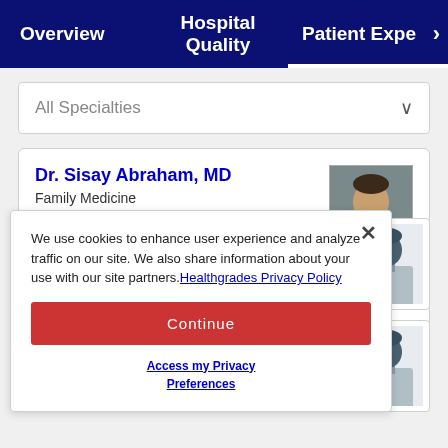Overview | Hospital Quality | Patient Expe >
All Specialties
Dr. Sisay Abraham, MD
Family Medicine
★★★☆☆ 5 Ratings
We use cookies to enhance user experience and analyze traffic on our site. We also share information about your use with our site partners. Healthgrades Privacy Policy
Continue
Access my Privacy Preferences